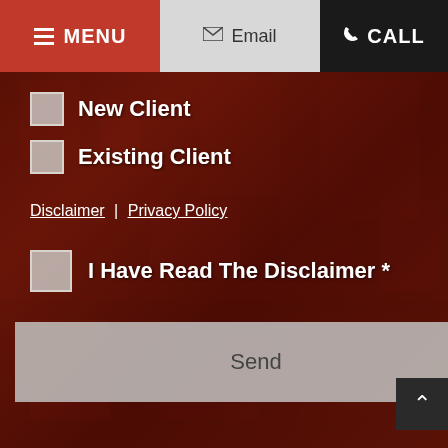MENU | Email | CALL
New Client
Existing Client
Disclaimer | Privacy Policy
I Have Read The Disclaimer *
Send